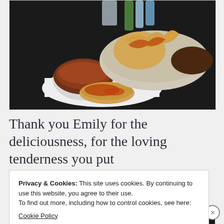[Figure (photo): Food photo showing pizza rolls/pinwheels in a bowl with dipping sauce in a glass bowl, on a dark background. A flat pizza roll sits on a white plate in the foreground.]
Thank you Emily for the deliciousness, for the loving tenderness you put
Privacy & Cookies: This site uses cookies. By continuing to use this website, you agree to their use.
To find out more, including how to control cookies, see here:
Cookie Policy
[Figure (photo): Partial bottom photo of baked food items, cropped.]